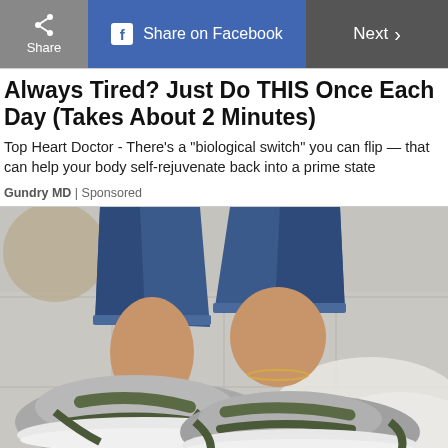Share | Share on Facebook | Next >
Always Tired? Just Do THIS Once Each Day (Takes About 2 Minutes)
Top Heart Doctor - There's a “biological switch” you can flip — that can help your body self-rejuvenate back into a prime state
Gundry MD | Sponsored
[Figure (photo): Close-up photo of a person's feet wearing gray athletic slip-on shoes with dark olive green Velcro straps and white soles, wearing blue jeans, with a gold anklet visible on the right foot. Set against a light gray tile floor with a white fluffy rug in the background.]